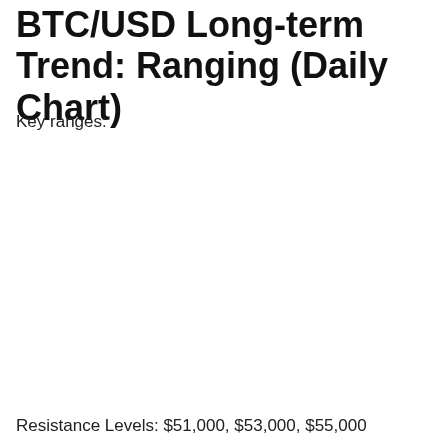BTC/USD Long-term Trend: Ranging (Daily Chart)
Key ranges:
Resistance Levels: $51,000, $53,000, $55,000